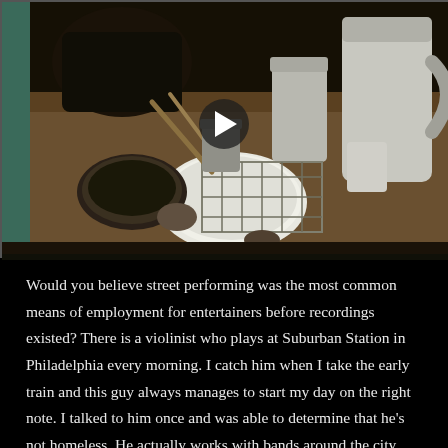[Figure (screenshot): Video thumbnail showing a cluttered surface with pots, cans, and various objects arranged like a makeshift drum kit or street performer setup. A white play button triangle is overlaid in the center-upper area of the video frame.]
Would you believe street performing was the most common means of employment for entertainers before recordings existed? There is a violinist who plays at Suburban Station in Philadelphia every morning. I catch him when I take the early train and this guy always manages to start my day on the right note. I talked to him once and was able to determine that he's not homeless. He actually works with bands around the city. Above and beyond